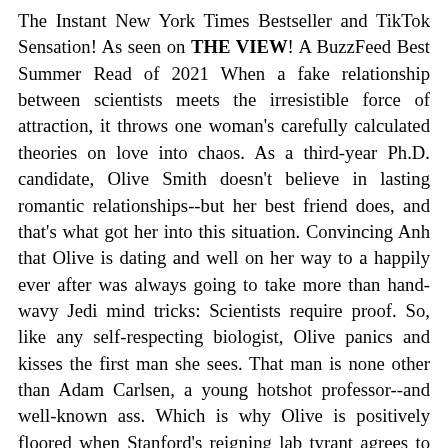The Instant New York Times Bestseller and TikTok Sensation! As seen on THE VIEW! A BuzzFeed Best Summer Read of 2021 When a fake relationship between scientists meets the irresistible force of attraction, it throws one woman's carefully calculated theories on love into chaos. As a third-year Ph.D. candidate, Olive Smith doesn't believe in lasting romantic relationships--but her best friend does, and that's what got her into this situation. Convincing Anh that Olive is dating and well on her way to a happily ever after was always going to take more than hand-wavy Jedi mind tricks: Scientists require proof. So, like any self-respecting biologist, Olive panics and kisses the first man she sees. That man is none other than Adam Carlsen, a young hotshot professor--and well-known ass. Which is why Olive is positively floored when Stanford's reigning lab tyrant agrees to keep her charade a secret and be her fake boyfriend. But when a big science conference goes haywire, putting Olive's career on the Bunsen burner,